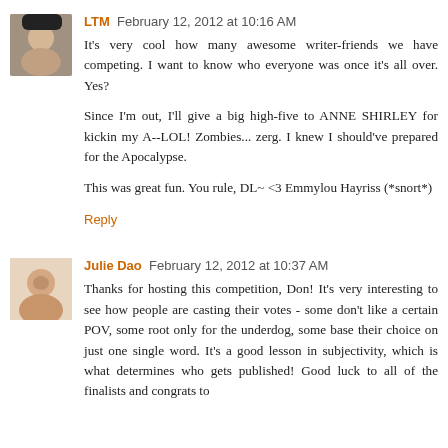[Figure (photo): Avatar photo of commenter LTM — person wearing dark hat]
LTM February 12, 2012 at 10:16 AM
It's very cool how many awesome writer-friends we have competing. I want to know who everyone was once it's all over. Yes?

Since I'm out, I'll give a big high-five to ANNE SHIRLEY for kickin my A--LOL! Zombies... zerg. I knew I should've prepared for the Apocalypse.

This was great fun. You rule, DL~ <3 Emmylou Hayriss (*snort*)
Reply
[Figure (photo): Avatar photo of commenter Julie Dao — woman smiling]
Julie Dao February 12, 2012 at 10:37 AM
Thanks for hosting this competition, Don! It's very interesting to see how people are casting their votes - some don't like a certain POV, some root only for the underdog, some base their choice on just one single word. It's a good lesson in subjectivity, which is what determines who gets published! Good luck to all of the finalists and congrats to